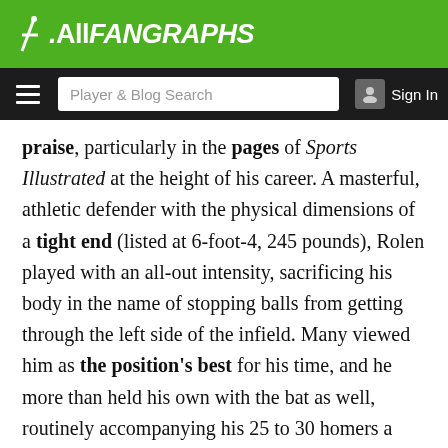FanGraphs
Player & Blog Search  Sign In
praise, particularly in the pages of Sports Illustrated at the height of his career. A masterful, athletic defender with the physical dimensions of a tight end (listed at 6-foot-4, 245 pounds), Rolen played with an all-out intensity, sacrificing his body in the name of stopping balls from getting through the left side of the infield. Many viewed him as the position's best for his time, and he more than held his own with the bat as well, routinely accompanying his 25 to 30 homers a year with strong on-base percentages.